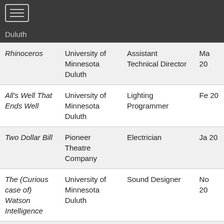| Production | Organization | Role | Date |
| --- | --- | --- | --- |
| Duluth |  |  |  |
| Rhinoceros | University of Minnesota Duluth | Assistant Technical Director | Ma 20 |
| All's Well That Ends Well | University of Minnesota Duluth | Lighting Programmer | Fe 20 |
| Two Dollar Bill | Pioneer Theatre Company | Electrician | Ja 20 |
| The (Curious case of) Watson Intelligence | University of Minnesota Duluth | Sound Designer | No 20 |
| DanceWorks | University of | Sound Engineer | Oc |